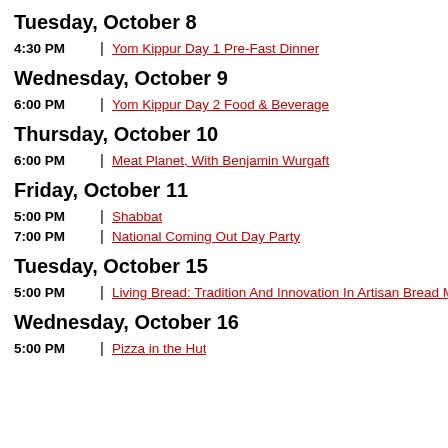Tuesday, October 8
4:30 PM | Yom Kippur Day 1 Pre-Fast Dinner
Wednesday, October 9
6:00 PM | Yom Kippur Day 2 Food & Beverage
Thursday, October 10
6:00 PM | Meat Planet, With Benjamin Wurgaft
Friday, October 11
5:00 PM | Shabbat
7:00 PM | National Coming Out Day Party
Tuesday, October 15
5:00 PM | Living Bread: Tradition And Innovation In Artisan Bread Ma...
Wednesday, October 16
5:00 PM | Pizza in the Hut